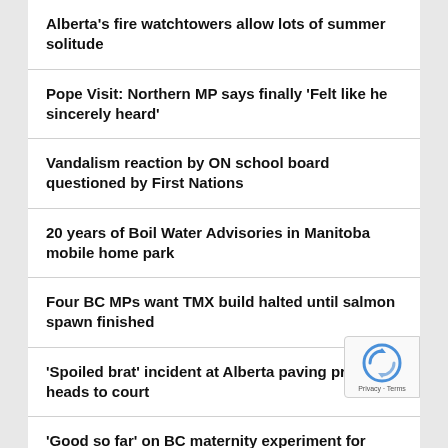Alberta's fire watchtowers allow lots of summer solitude
Pope Visit: Northern MP says finally 'Felt like he sincerely heard'
Vandalism reaction by ON school board questioned by First Nations
20 years of Boil Water Advisories in Manitoba mobile home park
Four BC MPs want TMX build halted until salmon spawn finished
'Spoiled brat' incident at Alberta paving project heads to court
'Good so far' on BC maternity experiment for endangered caribou